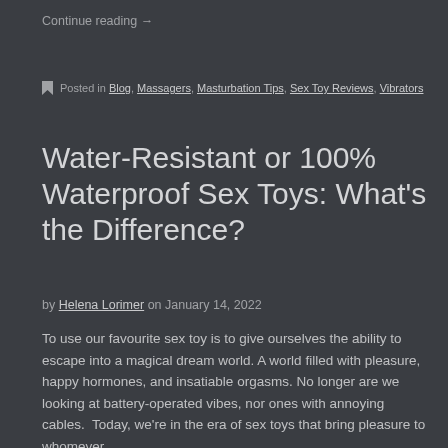Continue reading →
Posted in Blog, Massagers, Masturbation Tips, Sex Toy Reviews, Vibrators
Water-Resistant or 100% Waterproof Sex Toys: What's the Difference?
by Helena Lorimer on January 14, 2022
To use our favourite sex toy is to give ourselves the ability to escape into a magical dream world. A world filled with pleasure, happy hormones, and insatiable orgasms. No longer are we looking at battery-operated vibes, nor ones with annoying cables.  Today, we're in the era of sex toys that bring pleasure to whomever…
Continue reading